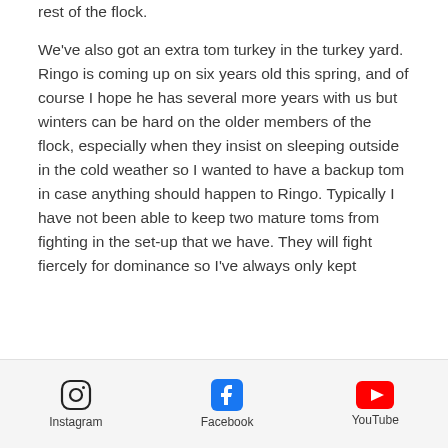rest of the flock.
We've also got an extra tom turkey in the turkey yard. Ringo is coming up on six years old this spring, and of course I hope he has several more years with us but winters can be hard on the older members of the flock, especially when they insist on sleeping outside in the cold weather so I wanted to have a backup tom in case anything should happen to Ringo. Typically I have not been able to keep two mature toms from fighting in the set-up that we have. They will fight fiercely for dominance so I've always only kept
Instagram  Facebook  YouTube